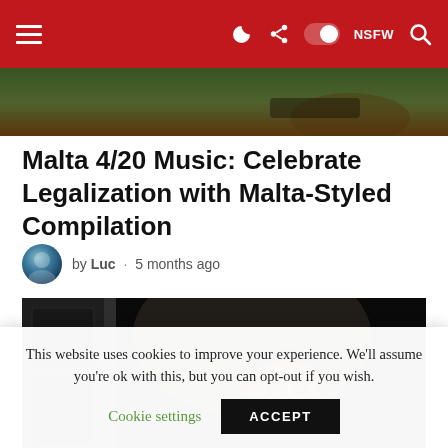≡ (navigation) ◑ ⬡ ⬤ NSFW 🔍
[Figure (photo): Partial image of person holding camera, outdoor greenery background]
Malta 4/20 Music: Celebrate Legalization with Malta-Styled Compilation
by Luc · 5 months ago
[Figure (photo): Dark moody portrait of a bearded man with round glasses looking upward in an elevator-like setting]
This website uses cookies to improve your experience. We'll assume you're ok with this, but you can opt-out if you wish.
Cookie settings   ACCEPT